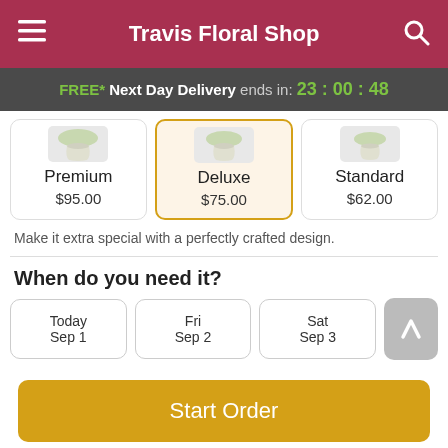Travis Floral Shop
FREE* Next Day Delivery ends in: 23:00:48
| Premium | Deluxe | Standard |
| --- | --- | --- |
| $95.00 | $75.00 | $62.00 |
Make it extra special with a perfectly crafted design.
When do you need it?
Today Sep 1
Fri Sep 2
Sat Sep 3
Start Order